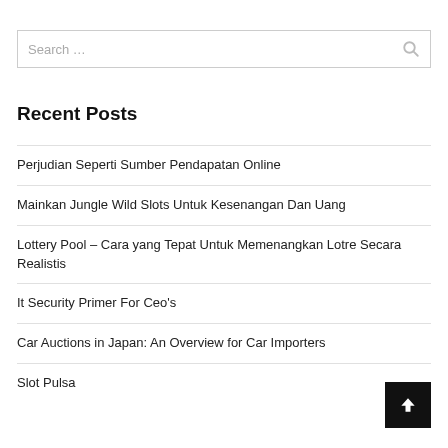Search …
Recent Posts
Perjudian Seperti Sumber Pendapatan Online
Mainkan Jungle Wild Slots Untuk Kesenangan Dan Uang
Lottery Pool – Cara yang Tepat Untuk Memenangkan Lotre Secara Realistis
It Security Primer For Ceo's
Car Auctions in Japan: An Overview for Car Importers
Slot Pulsa